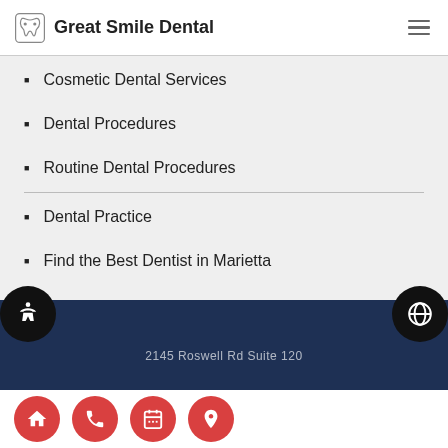Great Smile Dental
Cosmetic Dental Services
Dental Procedures
Routine Dental Procedures
Dental Practice
Find the Best Dentist in Marietta
2145 Roswell Rd Suite 120